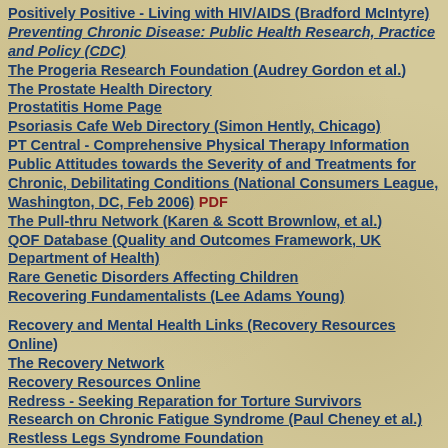Positively Positive - Living with HIV/AIDS (Bradford McIntyre)
Preventing Chronic Disease: Public Health Research, Practice and Policy (CDC)
The Progeria Research Foundation (Audrey Gordon et al.)
The Prostate Health Directory
Prostatitis Home Page
Psoriasis Cafe Web Directory (Simon Hently, Chicago)
PT Central - Comprehensive Physical Therapy Information
Public Attitudes towards the Severity of and Treatments for Chronic, Debilitating Conditions (National Consumers League, Washington, DC, Feb 2006) PDF
The Pull-thru Network (Karen & Scott Brownlow, et al.)
QOF Database (Quality and Outcomes Framework, UK Department of Health)
Rare Genetic Disorders Affecting Children
Recovering Fundamentalists (Lee Adams Young)
Recovery and Mental Health Links (Recovery Resources Online)
The Recovery Network
Recovery Resources Online
Redress - Seeking Reparation for Torture Survivors
Research on Chronic Fatigue Syndrome (Paul Cheney et al.)
Restless Legs Syndrome Foundation